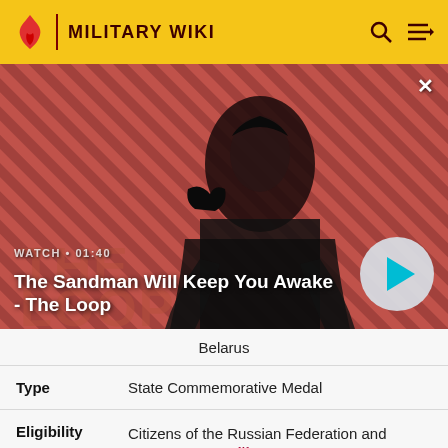MILITARY WIKI
[Figure (screenshot): Video thumbnail showing a dark-cloaked figure with a crow on their shoulder against a red diagonal stripe background. Title: The Sandman Will Keep You Awake - The Loop. Duration: 01:40.]
Belarus
| Type | State Commemorative Medal |
| Eligibility | Citizens of the Russian Federation and foreign nationals[1] |